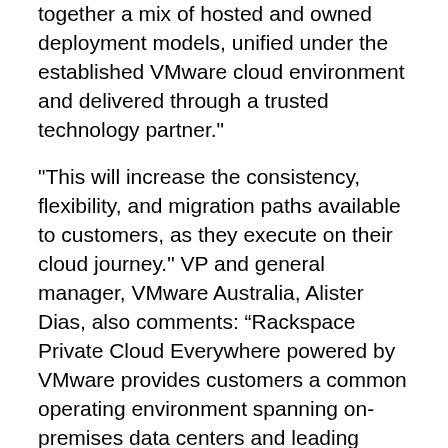together a mix of hosted and owned deployment models, unified under the established VMware cloud environment and delivered through a trusted technology partner."
"This will increase the consistency, flexibility, and migration paths available to customers, as they execute on their cloud journey." VP and general manager, VMware Australia, Alister Dias, also comments: “Rackspace Private Cloud Everywhere powered by VMware provides customers a common operating environment spanning on-premises data centers and leading public/managed clouds."
"With Rackspace, we are delivering the optimal environment for all applications—custom-built, packaged, virtualized, cloud-native and SaaS. We are pleased that Rackspace is providing customers with their choice of location to help bring this technology